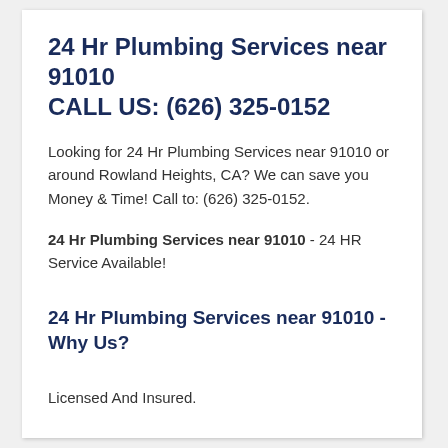24 Hr Plumbing Services near 91010
CALL US: (626) 325-0152
Looking for 24 Hr Plumbing Services near 91010 or around Rowland Heights, CA? We can save you Money & Time! Call to: (626) 325-0152.
24 Hr Plumbing Services near 91010 - 24 HR Service Available!
24 Hr Plumbing Services near 91010 - Why Us?
Licensed And Insured.